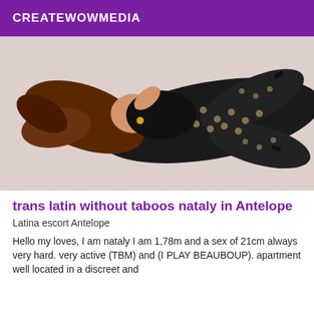CREATEWOWMEDIA
[Figure (photo): Woman in black fishnet/polka-dot outfit lying on floor with high heels]
trans latin without taboos nataly in Antelope
Latina escort Antelope
Hello my loves, I am nataly I am 1,78m and a sex of 21cm always very hard. very active (TBM) and (I PLAY BEAUBOUP). apartment well located in a discreet and